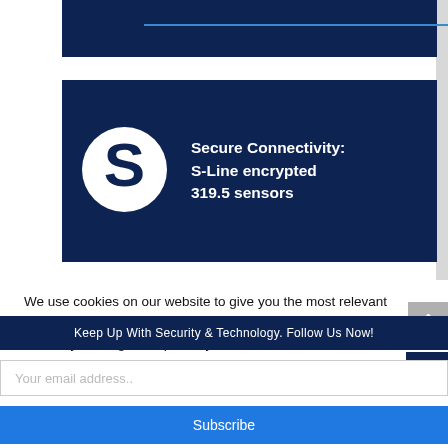[Figure (other): Partial dark navy blue card with a horizontal blue accent line, cropped at top of page]
[Figure (infographic): Dark navy blue card with S-Line logo (white S in circle) and text: Secure Connectivity: S-Line encrypted 319.5 sensors]
We use cookies on our website to give you the most relevant experience by remembering your preferences and repeat visits. By clicking "Accept All", you consent to the use of ALL the cookies. However, you may visit "Cookie Settings" to
Keep Up With Security & Technology. Follow Us Now!
Your email address..
Subscribe